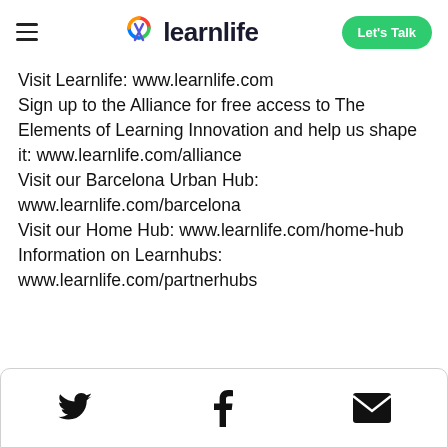learnlife — Let's Talk
Visit Learnlife: www.learnlife.com
Sign up to the Alliance for free access to The Elements of Learning Innovation and help us shape it: www.learnlife.com/alliance
Visit our Barcelona Urban Hub: www.learnlife.com/barcelona
Visit our Home Hub: www.learnlife.com/home-hub
Information on Learnhubs: www.learnlife.com/partnerhubs
[Figure (infographic): Social media icons: Twitter bird icon, Facebook 'f' icon, and email envelope icon in a white rounded box at the bottom of the page]